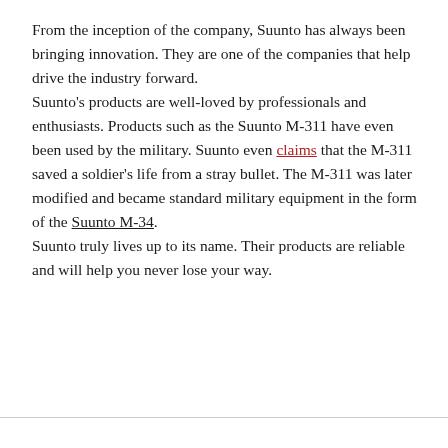From the inception of the company, Suunto has always been bringing innovation. They are one of the companies that help drive the industry forward.
Suunto's products are well-loved by professionals and enthusiasts. Products such as the Suunto M-311 have even been used by the military. Suunto even claims that the M-311 saved a soldier's life from a stray bullet. The M-311 was later modified and became standard military equipment in the form of the Suunto M-34.
Suunto truly lives up to its name. Their products are reliable and will help you never lose your way.